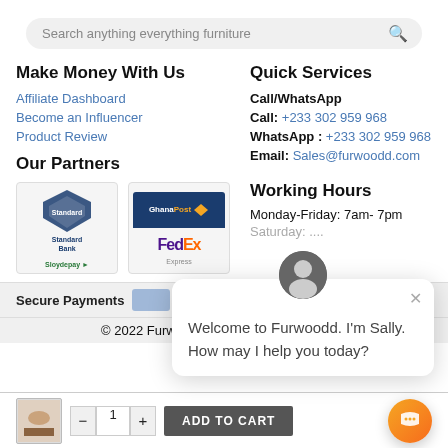Search anything everything furniture
Make Money With Us
Affiliate Dashboard
Become an Influencer
Product Review
Quick Services
Call/WhatsApp
Call: +233 302 959 968
WhatsApp : +233 302 959 968
Email: Sales@furwoodd.com
Our Partners
[Figure (logo): Standard Bank logo]
[Figure (logo): GhanaPost logo]
[Figure (logo): Sloydepay logo]
[Figure (logo): FedEx logo]
Working Hours
Monday-Friday: 7am- 7pm
Secure Payments
© 2022 Furwoodd Inc.   All rights reserved.
Welcome to Furwoodd. I'm Sally. How may I help you today?
ADD TO CART